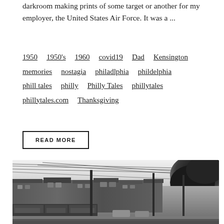darkroom making prints of some target or another for my employer, the United States Air Force. It was a ...
1950  1950's  1960  covid19  Dad  Kensington  memories  nostagia  philadlphia  phildelphia  phill tales  philly  Philly Tales  phillytales  phillytales.com  Thanksgiving
READ MORE
[Figure (photo): Black and white photograph of a street scene, likely from the 1950s or 1960s. Shows a row of brick buildings with storefronts and signs on the left side, utility poles and overhead wires, and a large tree on the right side. The street appears to be a commercial corridor.]